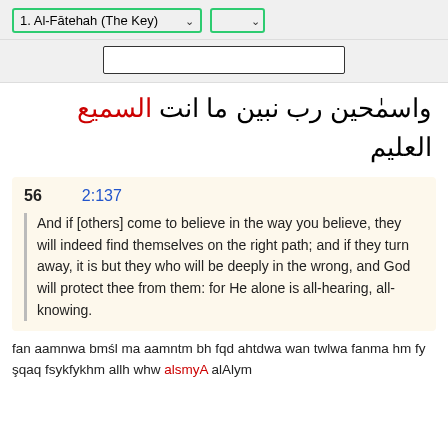1. Al-Fātehah (The Key)
[Figure (screenshot): Search input box]
واسمٰحين رب نبين ما انت السميع العليم
56   2:137
And if [others] come to believe in the way you believe, they will indeed find themselves on the right path; and if they turn away, it is but they who will be deeply in the wrong, and God will protect thee from them: for He alone is all-hearing, all-knowing.
fan aamnwa bmśl ma aamntm bh fqd ahtdwa wan twlwa fanma hm fy şqaq fsykfykhm allh whw alsmyA alAlym